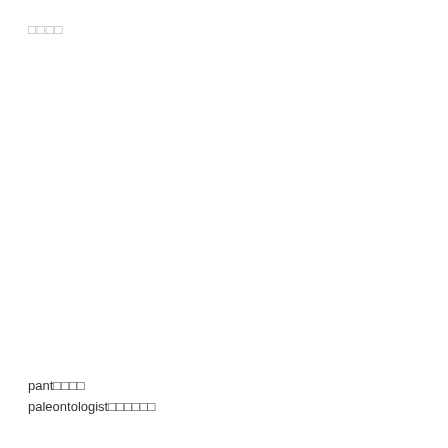□□□□
pant□□□□
paleontologist□□□□□□